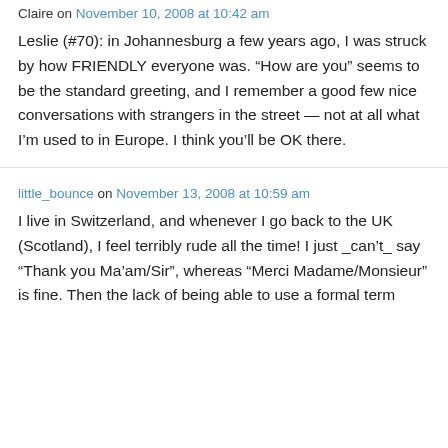Claire on November 10, 2008 at 10:42 am
Leslie (#70): in Johannesburg a few years ago, I was struck by how FRIENDLY everyone was. “How are you” seems to be the standard greeting, and I remember a good few nice conversations with strangers in the street — not at all what I’m used to in Europe. I think you’ll be OK there.
little_bounce on November 13, 2008 at 10:59 am
I live in Switzerland, and whenever I go back to the UK (Scotland), I feel terribly rude all the time! I just _can’t_ say “Thank you Ma’am/Sir”, whereas “Merci Madame/Monsieur” is fine. Then the lack of being able to use a formal term